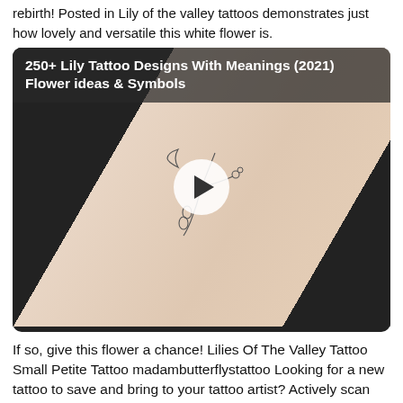rebirth! Posted in Lily of the valley tattoos demonstrates just how lovely and versatile this white flower is.
[Figure (screenshot): Card with title '250+ Lily Tattoo Designs With Meanings (2021) Flower ideas & Symbols' over a dark background with a video thumbnail showing a floral tattoo on skin with a play button overlay.]
If so, give this flower a chance! Lilies Of The Valley Tattoo Small Petite Tattoo madambutterflystattoo Looking for a new tattoo to save and bring to your tattoo artist? Actively scan device characteristics for identification.
[Figure (screenshot): Card with title '30 Beautiful Lily Of The Valley Tattoo Designs And Ideas' over a dark background with green lily of the valley illustration.]